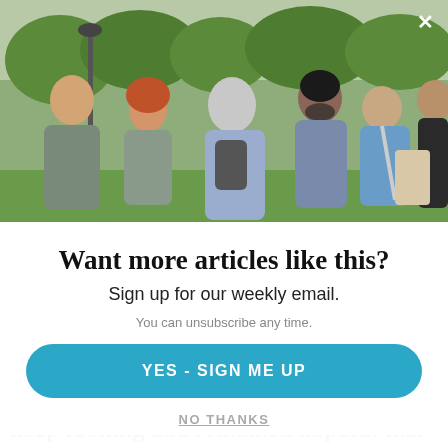[Figure (photo): Group of people talking outdoors in a park setting. Several adults including a bald man on left, a woman with curly red hair, an older man with grey hair seen from behind, a man with dark hair and beard, a smiling Asian woman, and a man in a dark jacket on the right. Trees and greenery in background.]
Want more articles like this?
Sign up for our weekly email.
You can unsubscribe any time.
YES - SIGN ME UP
NO THANKS
keep looking and remained hopeful that